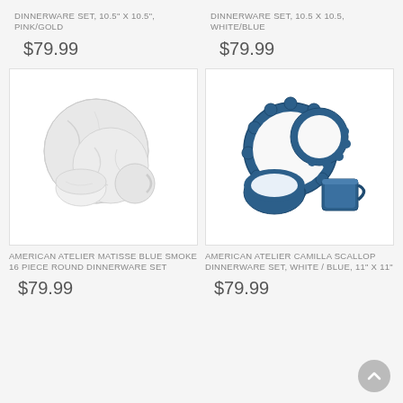DINNERWARE SET, 10.5" X 10.5", PINK/GOLD
$79.99
DINNERWARE SET, 10.5 X 10.5, WHITE/BLUE
$79.99
[Figure (photo): White marble-patterned round dinnerware set with plates, bowl, and cup]
AMERICAN ATELIER MATISSE BLUE SMOKE 16 PIECE ROUND DINNERWARE SET
$79.99
[Figure (photo): Blue scallop-edged dinnerware set with plate, bowl, and mug on white background]
AMERICAN ATELIER CAMILLA SCALLOP DINNERWARE SET, WHITE / BLUE, 11" X 11"
$79.99